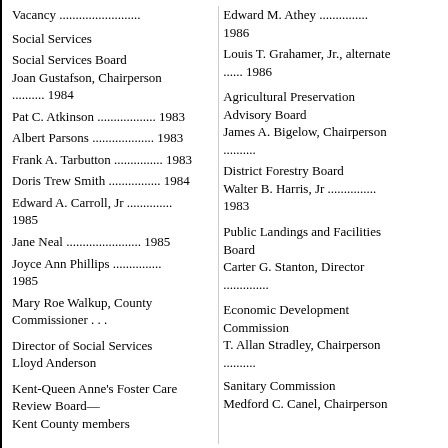Vacancy .........................
Social Services
Social Services Board
Joan Gustafson, Chairperson .......... 1984
Pat C. Atkinson .................. 1983
Albert Parsons ................... 1983
Frank A. Tarbutton ............... 1983
Doris Trew Smith ................ 1984
Edward A. Carroll, Jr .............. 1985
Jane Neal ....................... 1985
Joyce Ann Phillips ............... 1985
Mary Roe Walkup, County Commissioner . . .
Director of Social Services
Lloyd Anderson
Kent-Queen Anne's Foster Care Review Board—
Kent County members
Edward M. Athey ............... 1986
Louis T. Grahamer, Jr., alternate ...... 1986
Agricultural Preservation Advisory Board
James A. Bigelow, Chairperson ..........
District Forestry Board
Walter B. Harris, Jr ............... 1983
Public Landings and Facilities Board
Carter G. Stanton, Director ..............
Economic Development Commission
T. Allan Stradley, Chairperson ..........
Sanitary Commission
Medford C. Canel, Chairperson